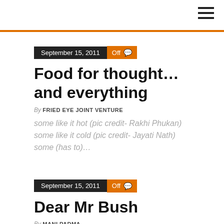September 15, 2011  Off
Food for thought…and everything
By FRIED EYE JOINT VENTURE
some like it hot (pic credit- Rakhi Phukan) some like it cold (pic credit- Jayati Nath) some (has to)…
September 15, 2011  Off
Dear Mr Bush
By MANI PADMA
Dear Mr Bush, Greetings from Fried eye (which I am sure